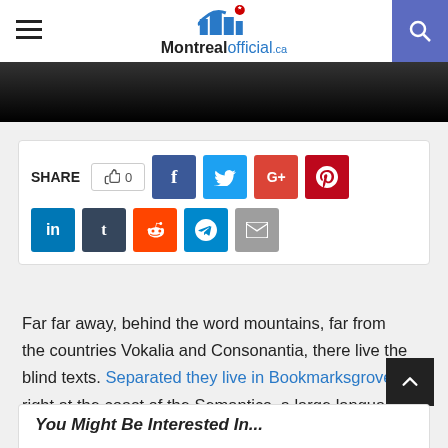MontrealOfficial.ca
[Figure (screenshot): Dark image strip below header]
[Figure (infographic): Social share bar with SHARE label, thumbs-up/like count 0, Facebook, Twitter, Google+, Pinterest, LinkedIn, Tumblr, Reddit, Telegram, Email buttons]
Far far away, behind the word mountains, far from the countries Vokalia and Consonantia, there live the blind texts. Separated they live in Bookmarksgrove right at the coast of the Semantics, a large language ocean. A small river named Duden flows by their place and supplies it with the necessary regelialia. It is a paradisematic country, in which roasted parts of sentences.